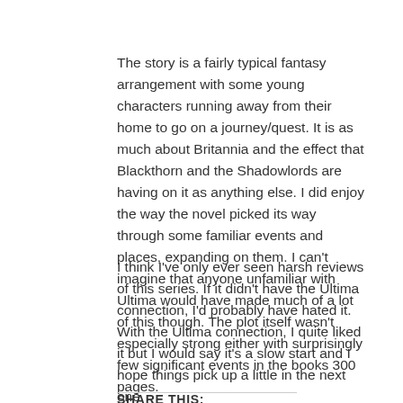The story is a fairly typical fantasy arrangement with some young characters running away from their home to go on a journey/quest. It is as much about Britannia and the effect that Blackthorn and the Shadowlords are having on it as anything else. I did enjoy the way the novel picked its way through some familiar events and places, expanding on them. I can't imagine that anyone unfamiliar with Ultima would have made much of a lot of this though. The plot itself wasn't especially strong either with surprisingly few significant events in the books 300 pages.
I think I've only ever seen harsh reviews of this series. If it didn't have the Ultima connection, I'd probably have hated it. With the Ultima connection, I quite liked it but I would say it's a slow start and I hope things pick up a little in the next one.
SHARE THIS: